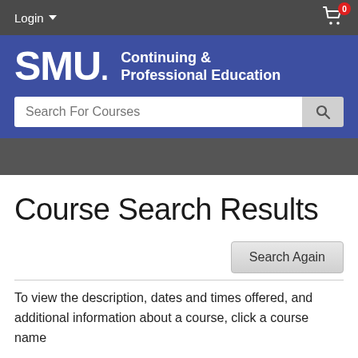Login | Cart (0)
[Figure (logo): SMU Continuing & Professional Education logo with search bar on blue background]
Course Search Results
Search Again
To view the description, dates and times offered, and additional information about a course, click a course name